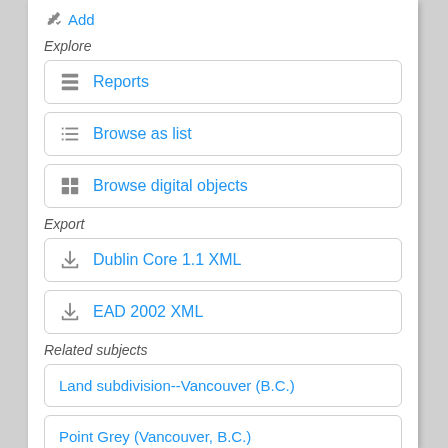Add
Explore
Reports
Browse as list
Browse digital objects
Export
Dublin Core 1.1 XML
EAD 2002 XML
Related subjects
Land subdivision--Vancouver (B.C.)
Point Grey (Vancouver, B.C.)
Streets